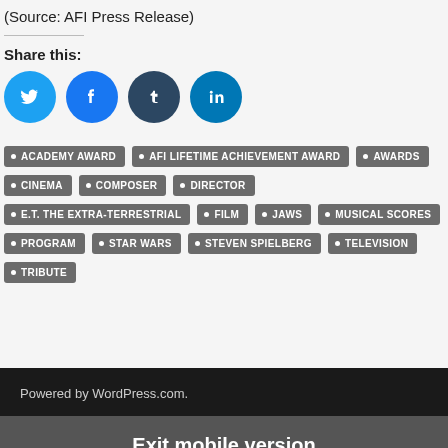(Source: AFI Press Release)
Share this:
[Figure (other): Social media sharing icons: Twitter (blue), Facebook (blue), Tumblr (dark blue), LinkedIn (teal)]
ACADEMY AWARD
AFI LIFETIME ACHIEVEMENT AWARD
AWARDS
CINEMA
COMPOSER
DIRECTOR
E.T. THE EXTRA-TERRESTRIAL
FILM
JAWS
MUSICAL SCORES
PROGRAM
STAR WARS
STEVEN SPIELBERG
TELEVISION
TRIBUTE
Powered by WordPress.com.
Exit mobile version